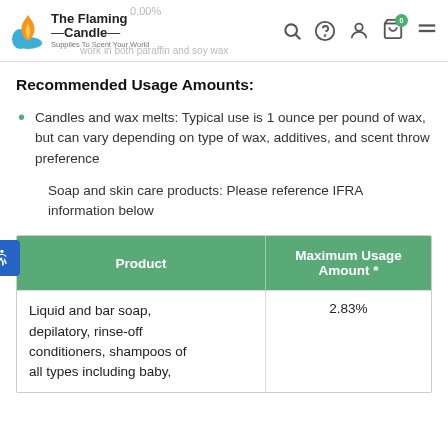The Flaming Candle — Supplies To Scent Your World
Recommended Usage Amounts:
Candles and wax melts: Typical use is 1 ounce per pound of wax, but can vary depending on type of wax, additives, and scent throw preference
Soap and skin care products: Please reference IFRA information below
| Product | Maximum Usage Amount * |
| --- | --- |
| Liquid and bar soap, depilatory, rinse-off conditioners, shampoos of all types including baby, | 2.83% |